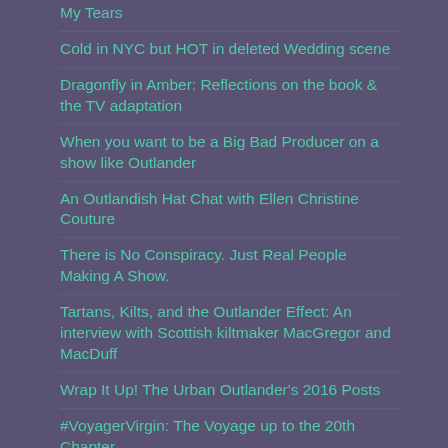My Tears
Cold in NYC but HOT in deleted Wedding scene
Dragonfly in Amber: Reflections on the book & the TV adaptation
When you want to be a Big Bad Producer on a show like Outlander
An Outlandish Hat Chat with Ellen Christine Couture
There is No Conspiracy. Just Real People Making A Show.
Tartans, Kilts, and the Outlander Effect: An interview with Scottish kiltmaker MacGregor and MacDuff
Wrap It Up! The Urban Outlander's 2016 Posts
#VoyagerVirgin: The Voyage up to the 20th Chapter